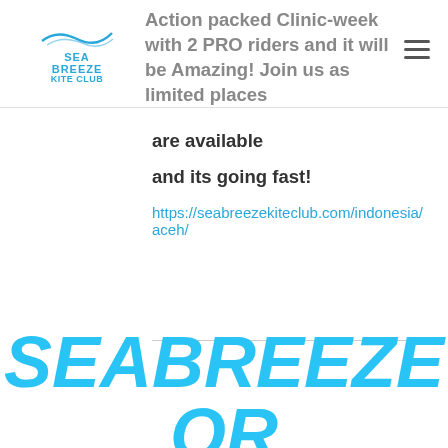Sea Breeze Kite Club — Action packed Clinic-week with 2 PRO riders and it will be Amazing! Join us as limited places
are available
and its going fast!
https://seabreezekiteclub.com/indonesia/aceh/
SEABREEZE OR